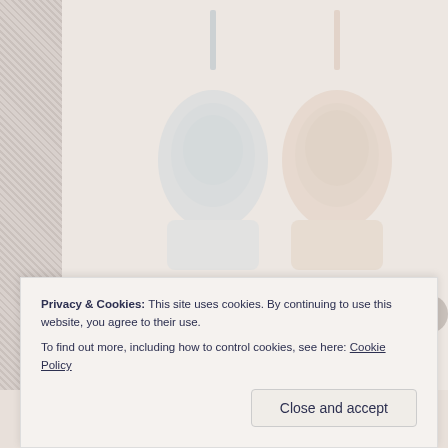[Figure (photo): Faded/washed-out background photo of two product bottles or containers (possibly cleaning or personal care products) against a light pinkish-beige background, with a dark left sidebar featuring a diagonal hatch pattern.]
Privacy & Cookies: This site uses cookies. By continuing to use this website, you agree to their use.
To find out more, including how to control cookies, see here: Cookie Policy
Close and accept